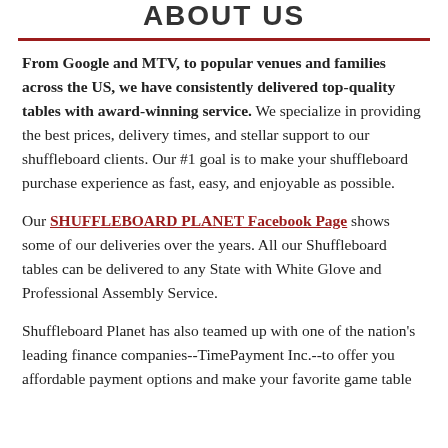ABOUT US
From Google and MTV, to popular venues and families across the US, we have consistently delivered top-quality tables with award-winning service. We specialize in providing the best prices, delivery times, and stellar support to our shuffleboard clients. Our #1 goal is to make your shuffleboard purchase experience as fast, easy, and enjoyable as possible.
Our SHUFFLEBOARD PLANET Facebook Page shows some of our deliveries over the years. All our Shuffleboard tables can be delivered to any State with White Glove and Professional Assembly Service.
Shuffleboard Planet has also teamed up with one of the nation's leading finance companies--TimePayment Inc.--to offer you affordable payment options and make your favorite game table